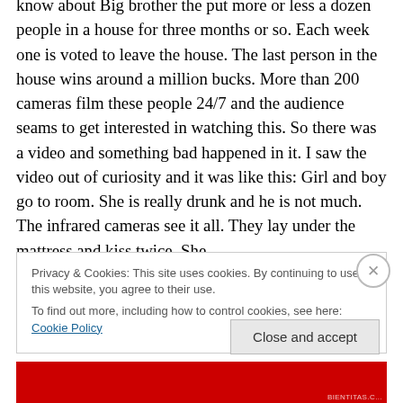know about Big brother the put more or less a dozen people in a house for three months or so. Each week one is voted to leave the house. The last person in the house wins around a million bucks. More than 200 cameras film these people 24/7 and the audience seams to get interested in watching this. So there was a video and something bad happened in it. I saw the video out of curiosity and it was like this: Girl and boy go to room. She is really drunk and he is not much. The infrared cameras see it all. They lay under the mattress and kiss twice. She
Privacy & Cookies: This site uses cookies. By continuing to use this website, you agree to their use.
To find out more, including how to control cookies, see here: Cookie Policy
Close and accept